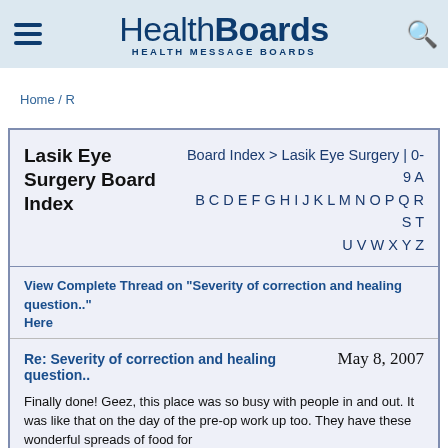HealthBoards HEALTH MESSAGE BOARDS
Home / R
Lasik Eye Surgery Board Index
Board Index > Lasik Eye Surgery | 0-9 A B C D E F G H I J K L M N O P Q R S T U V W X Y Z
View Complete Thread on "Severity of correction and healing question.." Here
Re: Severity of correction and healing question..
May 8, 2007
Finally done! Geez, this place was so busy with people in and out. It was like that on the day of the pre-op work up too. They have these wonderful spreads of food for